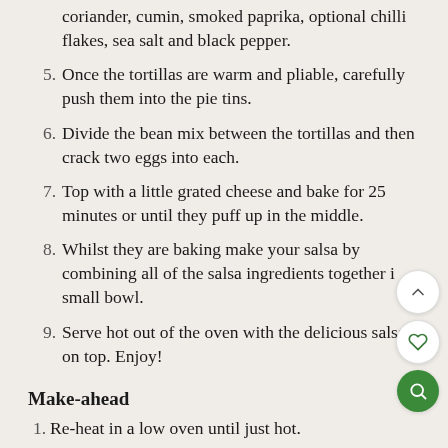coriander, cumin, smoked paprika, optional chilli flakes, sea salt and black pepper.
5. Once the tortillas are warm and pliable, carefully push them into the pie tins.
6. Divide the bean mix between the tortillas and then crack two eggs into each.
7. Top with a little grated cheese and bake for 25 minutes or until they puff up in the middle.
8. Whilst they are baking make your salsa by combining all of the salsa ingredients together in a small bowl.
9. Serve hot out of the oven with the delicious salsa on top. Enjoy!
Make-ahead
1. Re-heat in a low oven until just hot.